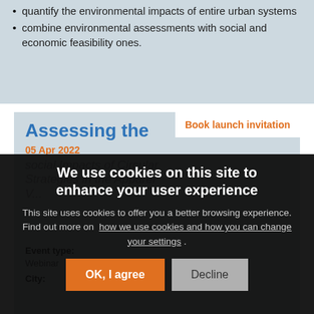quantify the environmental impacts of entire urban systems
combine environmental assessments with social and economic feasibility ones.
Assessing the social Impacts of Circular Strategies in the Apparel Value...
05 Apr 2022
Book launch invitation
[Figure (photo): Dark thumbnail image of a book cover related to circular strategies]
Event type: Webinar
City:
We use cookies on this site to enhance your user experience
This site uses cookies to offer you a better browsing experience. Find out more on how we use cookies and how you can change your settings .
OK, I agree
Decline